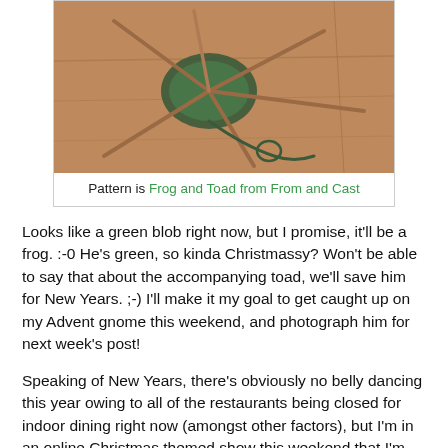[Figure (photo): Photo of knitting in progress on double-pointed needles, showing a small green knitted piece on a wooden surface, with multiple needles radiating outward.]
Pattern is Frog and Toad from From and Cast
Looks like a green blob right now, but I promise, it'll be a frog. :-0 He's green, so kinda Christmassy? Won't be able to say that about the accompanying toad, we'll save him for New Years. ;-) I'll make it my goal to get caught up on my Advent gnome this weekend, and photograph him for next week's post!
Speaking of New Years, there's obviously no belly dancing this year owing to all of the restaurants being closed for indoor dining right now (amongst other factors), but I'm in an online Christmas themed show this weekend that I'm *really* looking forward to! After that is done on Saturday evening,